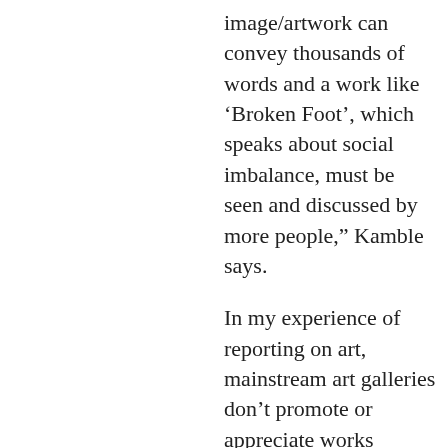image/artwork can convey thousands of words and a work like ‘Broken Foot’, which speaks about social imbalance, must be seen and discussed by more people,” Kamble says.
In my experience of reporting on art, mainstream art galleries don’t promote or appreciate works dealing with caste politics. We still live in a fractured society, a fractured time.
“We must have more modes